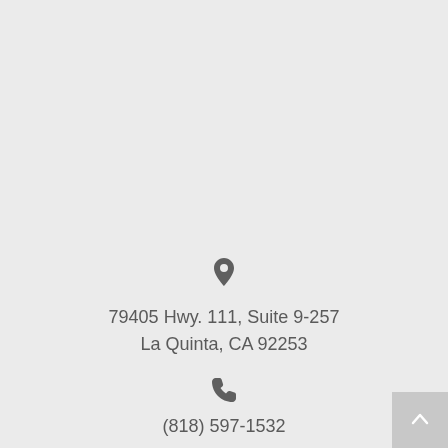79405 Hwy. 111, Suite 9-257
La Quinta, CA 92253
(818) 597-1532